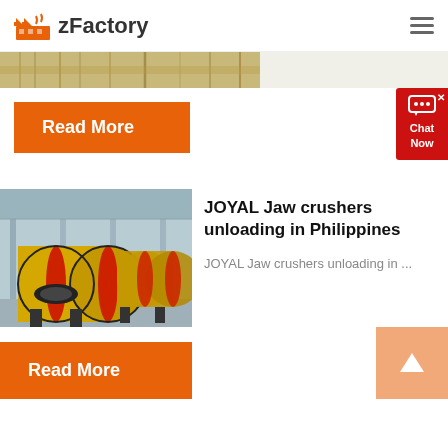zFactory
[Figure (photo): Partial banner/header image strip showing industrial machinery or warehouse in warm brown/tan tones]
Read More
[Figure (other): Chat Now widget with red background and chat bubble icon]
[Figure (photo): Industrial factory floor with large yellow cylindrical ball mill machines with red flanges lined up in a row]
JOYAL Jaw crushers unloading in Philippines
JOYAL Jaw crushers unloading in ...
Read More